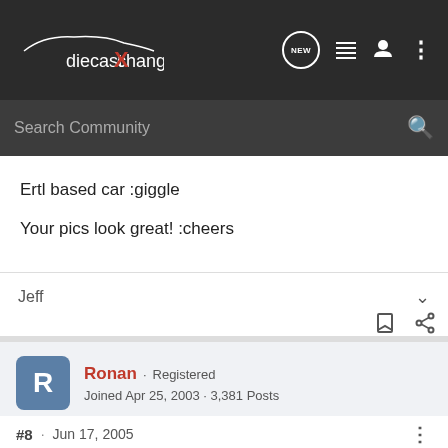diecastXchange - Search Community
Ertl based car :giggle
Your pics look great! :cheers
Jeff
Ronan · Registered
Joined Apr 25, 2003 · 3,381 Posts
#8 · Jun 17, 2005